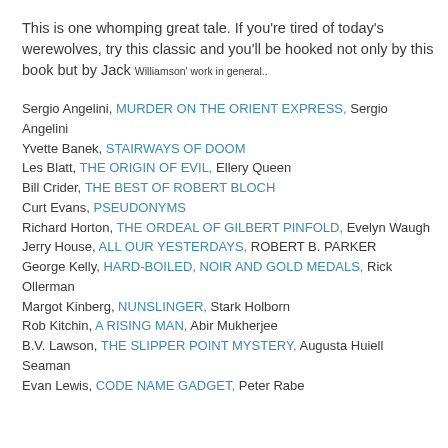This is one whomping great tale. If you're tired of today's werewolves, try this classic and you'll be hooked not only by this book but by Jack Williamson' work in general..
Sergio Angelini, MURDER ON THE ORIENT EXPRESS, Sergio Angelini
Yvette Banek, STAIRWAYS OF DOOM
Les Blatt, THE ORIGIN OF EVIL, Ellery Queen
Bill Crider, THE BEST OF ROBERT BLOCH
Curt Evans, PSEUDONYMS
Richard Horton, THE ORDEAL OF GILBERT PINFOLD, Evelyn Waugh
Jerry House, ALL OUR YESTERDAYS, ROBERT B. PARKER
George Kelly, HARD-BOILED, NOIR AND GOLD MEDALS, Rick Ollerman
Margot Kinberg, NUNSLINGER, Stark Holborn
Rob Kitchin, A RISING MAN, Abir Mukherjee
B.V. Lawson, THE SLIPPER POINT MYSTERY, Augusta Huiell Seaman
Evan Lewis, CODE NAME GADGET, Peter Rabe